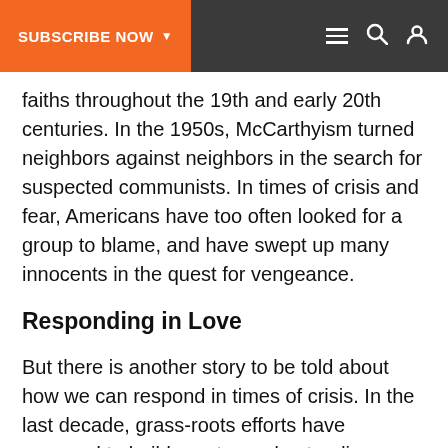SUBSCRIBE NOW ▼
faiths throughout the 19th and early 20th centuries. In the 1950s, McCarthyism turned neighbors against neighbors in the search for suspected communists. In times of crisis and fear, Americans have too often looked for a group to blame, and have swept up many innocents in the quest for vengeance.
Responding in Love
But there is another story to be told about how we can respond in times of crisis. In the last decade, grass-roots efforts have emerged to build greater understanding between people of different faiths. Many people report that their personal experiences